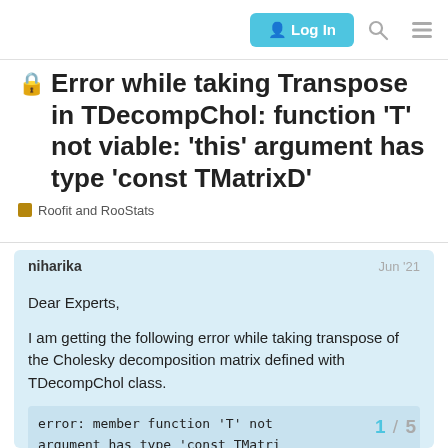Log In
🔒 Error while taking Transpose in TDecompChol: function 'T' not viable: 'this' argument has type 'const TMatrixD'
Roofit and RooStats
niharika   Jun '21
Dear Experts,

I am getting the following error while taking transpose of the Cholesky decomposition matrix defined with TDecompChol class.
error: member function 'T' not
argument has type 'const TMatri
1 / 5